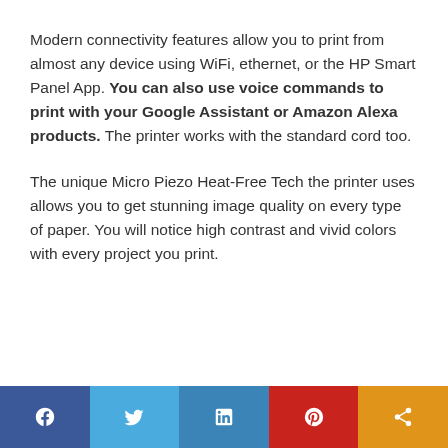Modern connectivity features allow you to print from almost any device using WiFi, ethernet, or the HP Smart Panel App. You can also use voice commands to print with your Google Assistant or Amazon Alexa products. The printer works with the standard cord too.
The unique Micro Piezo Heat-Free Tech the printer uses allows you to get stunning image quality on every type of paper. You will notice high contrast and vivid colors with every project you print.
[Figure (infographic): Social media share bar with five buttons: Facebook (dark blue), Twitter (light blue), LinkedIn (medium blue), Pinterest (red), Share/other (orange), each with a white icon.]